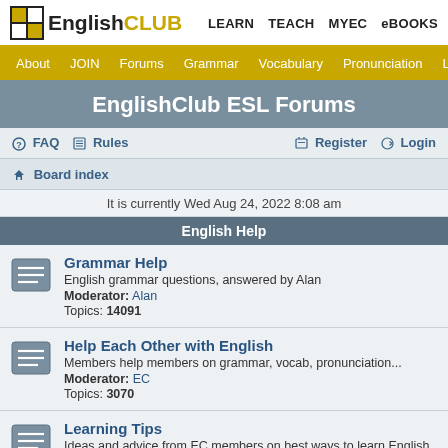EnglishCLUB — LEARN  TEACH  MYEC  eBOOKS
About  JOIN  Forums  Grammar  Vocabulary  Pronunciation  Listening
EnglishClub ESL Forums
FAQ  Rules  Register  Login
Board index
It is currently Wed Aug 24, 2022 8:08 am
English Help
Grammar Help
English grammar questions, answered by Alan
Moderator: Alan
Topics: 14091
Help Each Other with English
Members help members on grammar, vocab, pronunciation...
Moderator: EC
Topics: 3070
Learning Tips
Ideas and advice from EC members on best ways to learn English
Moderator: EC
Topics: 39